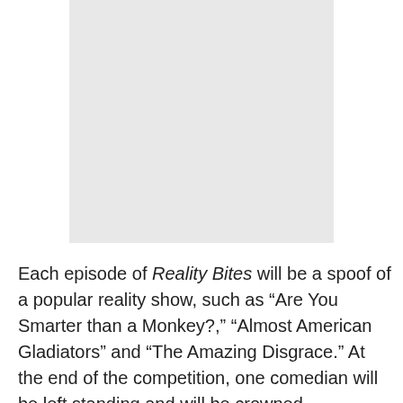[Figure (other): A light gray rectangular placeholder image occupying the top portion of the page.]
Each episode of Reality Bites will be a spoof of a popular reality show, such as “Are You Smarter than a Monkey?,” “Almost American Gladiators” and “The Amazing Disgrace.” At the end of the competition, one comedian will be left standing and will be crowned